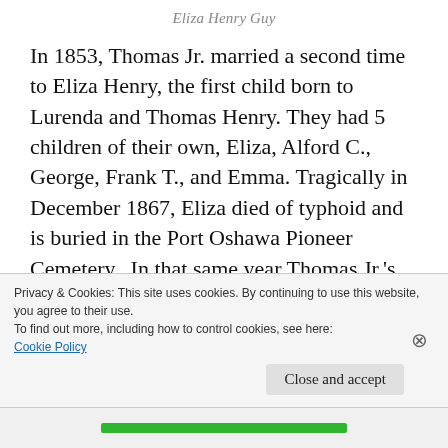Eliza Henry Guy
In 1853, Thomas Jr. married a second time to Eliza Henry, the first child born to Lurenda and Thomas Henry. They had 5 children of their own, Eliza, Alford C., George, Frank T., and Emma. Tragically in December 1867, Eliza died of typhoid and is buried in the Port Oshawa Pioneer Cemetery.  In that same year Thomas Jr.'s first born daughter Harriet also died of typhoid in Bowmanville. also laid to rest in the
Privacy & Cookies: This site uses cookies. By continuing to use this website, you agree to their use.
To find out more, including how to control cookies, see here:
Cookie Policy

Close and accept